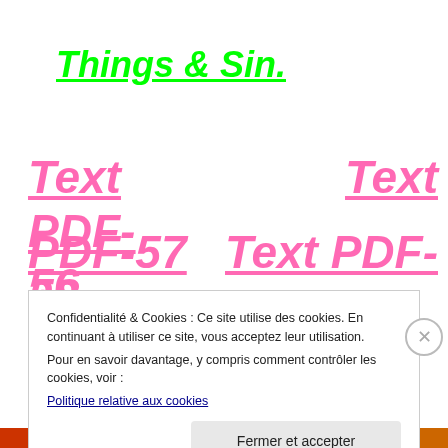Things & Sin.
Text PDF-56
Text
PDF-57
Text PDF-
58
Confidentialité & Cookies : Ce site utilise des cookies. En continuant à utiliser ce site, vous acceptez leur utilisation.
Pour en savoir davantage, y compris comment contrôler les cookies, voir :
Politique relative aux cookies
Fermer et accepter